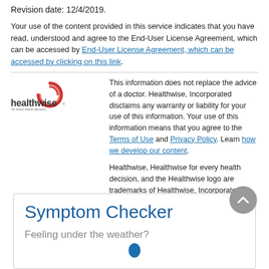Revision date: 12/4/2019.
Your use of the content provided in this service indicates that you have read, understood and agree to the End-User License Agreement, which can be accessed by End-User License Agreement, which can be accessed by clicking on this link.
[Figure (logo): Healthwise logo with red circular icon and text 'healthwise for every health decision']
This information does not replace the advice of a doctor. Healthwise, Incorporated disclaims any warranty or liability for your use of this information. Your use of this information means that you agree to the Terms of Use and Privacy Policy. Learn how we develop our content.
Healthwise, Healthwise for every health decision, and the Healthwise logo are trademarks of Healthwise, Incorporated.
Symptom Checker
Feeling under the weather?